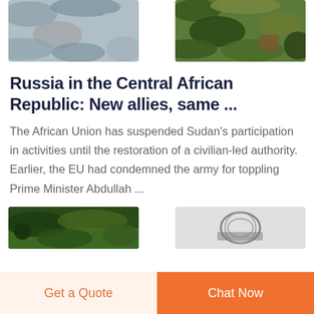[Figure (photo): Two camouflage pattern images at the top: left shows a light grey/blue military camouflage fabric texture; right shows a green/brown military camouflage garment/bag.]
Russia in the Central African Republic: New allies, same ...
The African Union has suspended Sudan's participation in activities until the restoration of a civilian-led authority. Earlier, the EU had condemned the army for toppling Prime Minister Abdullah ...
[Figure (photo): Two partially visible images at the bottom: left shows a forest/vegetation scene, right shows what appears to be a logo or emblem on grey background.]
Get a Quote
Chat Now